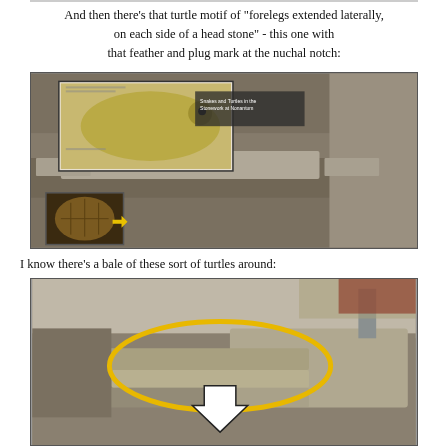And then there's that turtle motif of "forelegs extended laterally, on each side of a head stone" - this one with that feather and plug mark at the nuchal notch:
[Figure (photo): Photograph of stone wall construction showing a horizontal flat stone (head stone) with turtle motif forelegs extended on each side. Inset images show a turtle head diagram and text reading 'Snakes and Turtles in the Stonework at Nonantum'. Another inset shows turtle shell detail with a yellow arrow pointing to a feature.]
I know there's a bale of these sort of turtles around:
[Figure (photo): Photograph of stone wall with large flat stones. A yellow oval/ellipse circles a group of stones arranged to suggest turtle forelegs. A large white upward-pointing arrow is overlaid on the image pointing to the circled stones.]